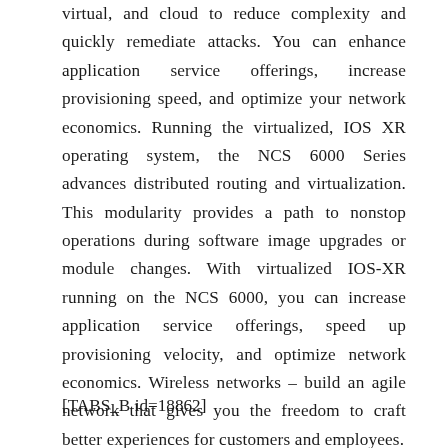virtual, and cloud to reduce complexity and quickly remediate attacks. You can enhance application service offerings, increase provisioning speed, and optimize your network economics. Running the virtualized, IOS XR operating system, the NCS 6000 Series advances distributed routing and virtualization. This modularity provides a path to nonstop operations during software image upgrades or module changes. With virtualized IOS-XR running on the NCS 6000, you can increase application service offerings, speed up provisioning velocity, and optimize network economics. Wireless networks – build an agile network that gives you the freedom to craft better experiences for customers and employees.
[TABS_B id=18862]